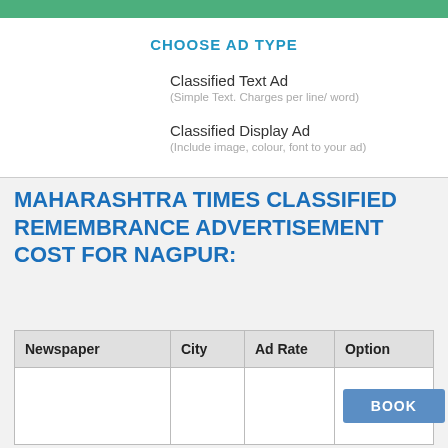CHOOSE AD TYPE
Classified Text Ad
(Simple Text. Charges per line/ word)
Classified Display Ad
(Include image, colour, font to your ad)
MAHARASHTRA TIMES CLASSIFIED REMEMBRANCE ADVERTISEMENT COST FOR NAGPUR:
| Newspaper | City | Ad Rate | Option |
| --- | --- | --- | --- |
|  |  |  | BOOK |